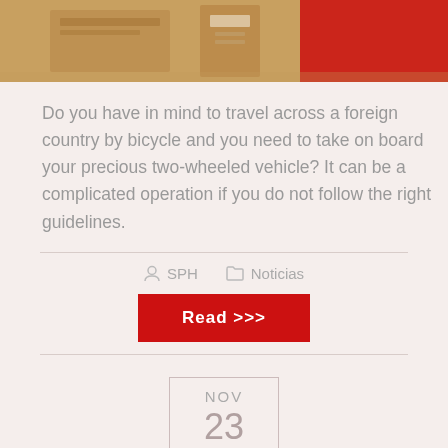[Figure (photo): Top portion of a photo showing cardboard boxes with labels, brown/tan color tones with red on the right edge]
Do you have in mind to travel across a foreign country by bicycle and you need to take on board your precious two-wheeled vehicle? It can be a complicated operation if you do not follow the right guidelines.
SPH   Noticias
Read >>>
NOV 23
How to pack the bicycle for a flight